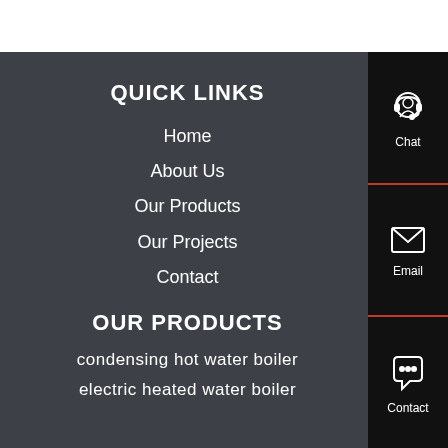QUICK LINKS
Home
About Us
Our Products
Our Projects
Contact
OUR PRODUCTS
condensing hot water boiler
electric heated water boiler
[Figure (infographic): Right sidebar with three contact options: Chat (headset icon), Email (envelope icon), Contact (speech bubble icon), separated by red lines, on black background]